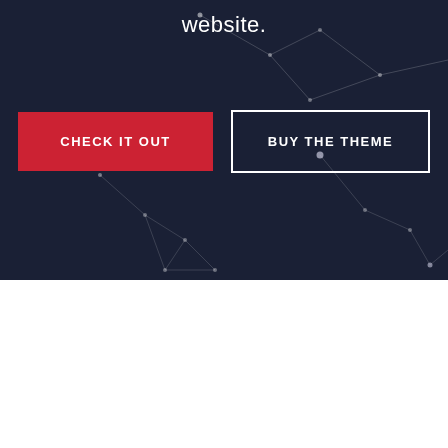[Figure (infographic): Dark navy background with geometric network/constellation graphic — connected dots and triangular line patterns overlaid across the section. Text 'website.' appears at top center. Two call-to-action buttons: a red 'CHECK IT OUT' button and an outlined 'BUY THE THEME' button.]
website.
CHECK IT OUT
BUY THE THEME
[Figure (illustration): Light gray bordered card/box containing a green line-art icon depicting overlapping documents with a circular arrow (import/export or copy icon).]